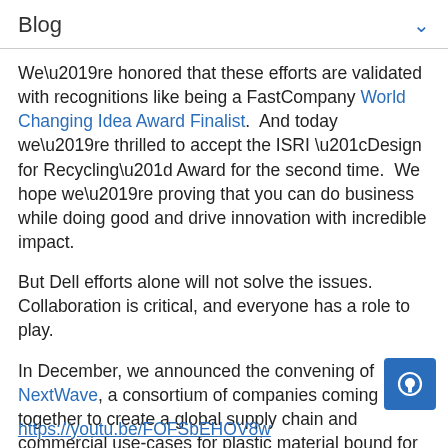Blog
We’re honored that these efforts are validated with recognitions like being a FastCompany World Changing Idea Award Finalist.  And today we’re thrilled to accept the ISRI “Design for Recycling” Award for the second time.  We hope we’re proving that you can do business while doing good and drive innovation with incredible impact.
But Dell efforts alone will not solve the issues.  Collaboration is critical, and everyone has a role to play.
In December, we announced the convening of NextWave, a consortium of companies coming together to create a global supply chain and commercial use-cases for plastic material bound for the ocean.  We are still looking for partners who can create use cases. Please join us!
https://youtu.be/FOFSbEHOV8w